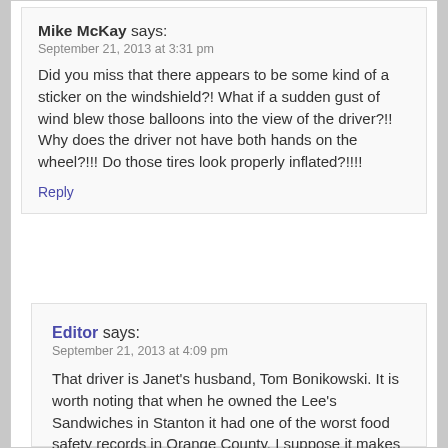Mike McKay says:
September 21, 2013 at 3:31 pm
Did you miss that there appears to be some kind of a sticker on the windshield?! What if a sudden gust of wind blew those balloons into the view of the driver?!! Why does the driver not have both hands on the wheel?!!! Do those tires look properly inflated?!!!!
Reply
Editor says:
September 21, 2013 at 4:09 pm
That driver is Janet's husband, Tom Bonikowski. It is worth noting that when he owned the Lee's Sandwiches in Stanton it had one of the worst food safety records in Orange County. I suppose it makes sense that he would endanger his own child when